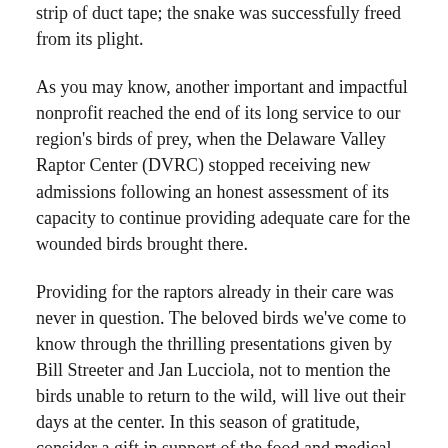strip of duct tape; the snake was successfully freed from its plight.
As you may know, another important and impactful nonprofit reached the end of its long service to our region's birds of prey, when the Delaware Valley Raptor Center (DVRC) stopped receiving new admissions following an honest assessment of its capacity to continue providing adequate care for the wounded birds brought there.
Providing for the raptors already in their care was never in question. The beloved birds we've come to know through the thrilling presentations given by Bill Streeter and Jan Lucciola, not to mention the birds unable to return to the wild, will live out their days at the center. In this season of gratitude, consider a gift in support of the food and medical attention needed to make this possible, at https://www.dvrconline.org.